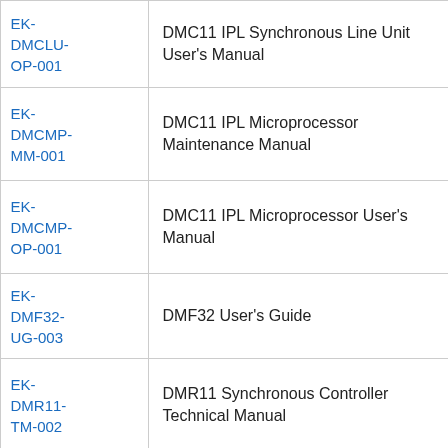| Order Code | Description |
| --- | --- |
| EK-DMCLU-OP-001 | DMC11 IPL Synchronous Line Unit User's Manual |
| EK-DMCMP-MM-001 | DMC11 IPL Microprocessor Maintenance Manual |
| EK-DMCMP-OP-001 | DMC11 IPL Microprocessor User's Manual |
| EK-DMF32-UG-003 | DMF32 User's Guide |
| EK-DMR11-TM-002 | DMR11 Synchronous Controller Technical Manual |
| EK-DMV11-TM-001 | DMV11 Synchronous Controller Technical Manual |
| EK-... | OMA DMV11 Synchronous... |